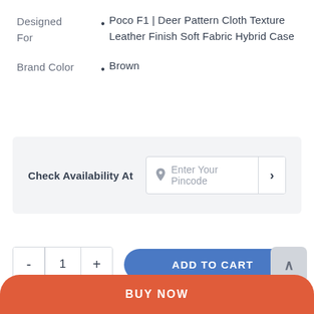Designed For • Poco F1 | Deer Pattern Cloth Texture Leather Finish Soft Fabric Hybrid Case
Brand Color • Brown
Check Availability At   Enter Your Pincode >
- 1 + ADD TO CART
BUY NOW